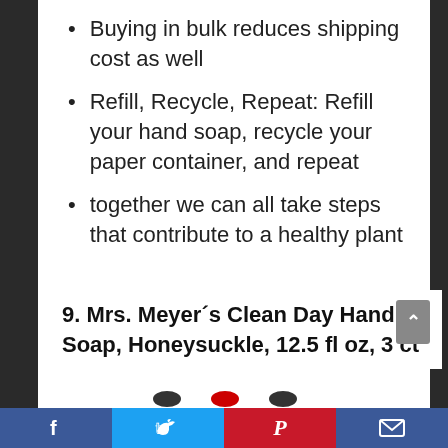Buying in bulk reduces shipping cost as well
Refill, Recycle, Repeat: Refill your hand soap, recycle your paper container, and repeat
together we can all take steps that contribute to a healthy plant
9. Mrs. Meyer´s Clean Day Hand Soap, Honeysuckle, 12.5 fl oz, 3 ct
[Figure (other): Social media sharing bar with Facebook, Twitter, Pinterest, and email icons]